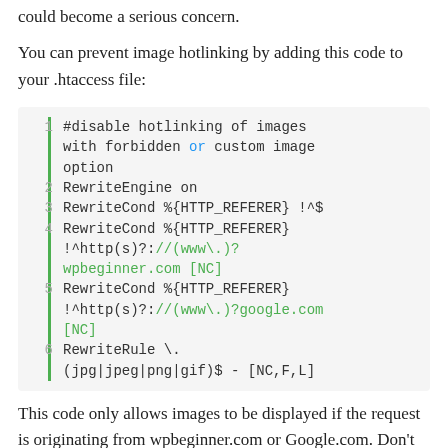could become a serious concern.
You can prevent image hotlinking by adding this code to your .htaccess file:
1  #disable hotlinking of images with forbidden or custom image option
2  RewriteEngine on
3  RewriteCond %{HTTP_REFERER} !^$
4  RewriteCond %{HTTP_REFERER} !^http(s)?://(www\.)?wpbeginner.com [NC]
5  RewriteCond %{HTTP_REFERER} !^http(s)?://(www\.)?google.com [NC]
6  RewriteRule \.(jpg|jpeg|png|gif)$ - [NC,F,L]
This code only allows images to be displayed if the request is originating from wpbeginner.com or Google.com. Don't forget to replace